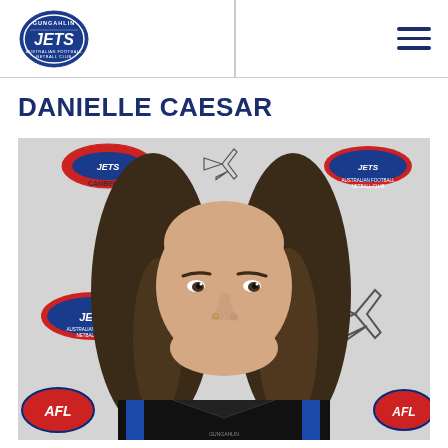[Figure (logo): Gungahlin Jets Australian Football Netball Club logo — oval shape with blue background and white JETS text]
DANIELLE CAESAR
[Figure (photo): Portrait photo of Danielle Caesar smiling, wearing a black and blue Gungahlin Jets jacket, in front of a Gungahlin Jets / AFL Canberra sponsor backdrop]